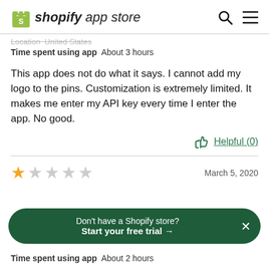shopify app store
Location  United States
Time spent using app  About 3 hours
This app does not do what it says. I cannot add my logo to the pins. Customization is extremely limited. It makes me enter my API key every time I enter the app. No good.
Helpful (0)
[Figure (other): 1 out of 5 stars rating — one gold star followed by four grey stars]
March 5, 2020
Don't have a Shopify store? Start your free trial →
Time spent using app  About 2 hours